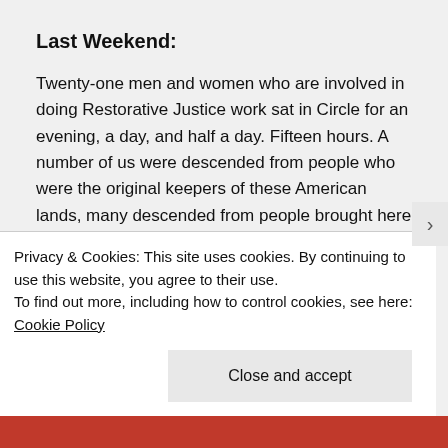Last Weekend:
Twenty-one men and women who are involved in doing Restorative Justice work sat in Circle for an evening, a day, and half a day. Fifteen hours. A number of us were descended from people who were the original keepers of these American lands, many descended from people brought here by force from Africa as slaves, one who came to be in America from Korea through adoption; a few more who had come to America to study and to work; twelve altogether. Nine more of us were descended from ancestors who came
Privacy & Cookies: This site uses cookies. By continuing to use this website, you agree to their use.
To find out more, including how to control cookies, see here: Cookie Policy
Close and accept